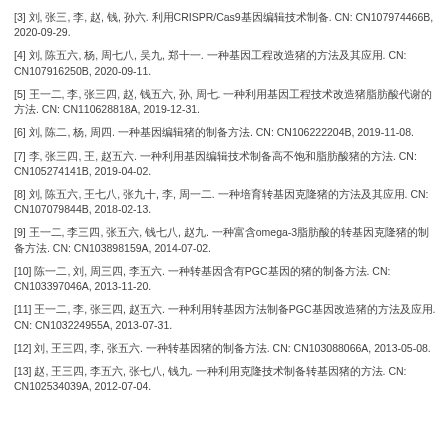[3] 王, 张三, 李, 赵, 钱, 孙六. 利用CRISPR/Cas9基因编辑. CN: CN107974466B, 2020-09-29.
[4] 刘, 陈五六, 杨, 周七八, 吴九, 郑十一. 一种基因工程改造猪的方法及应用. CN: CN107916250B, 2020-09-11.
[5] 王一二, 李, 张三四, 赵, 钱五六, 孙, 周七. 一种利用基因工程技术改造猪脂肪酸代谢. CN: CN110628818A, 2019-12-31.
[6] 刘, 陈二, 杨, 周四. 一种基因编辑猪的制备方法. CN: CN106222204B, 2019-11-08.
[7] 李, 张三四, 王, 赵五六. 一种利用基因编辑技术制备高不饱和脂肪酸猪的方法. CN: CN105274141B, 2019-04-02.
[8] 刘, 陈五六, 王七八, 张九十, 李, 周一二. 一种培育转基因克隆猪的方法及其应用. CN: CN107079844B, 2018-02-13.
[9] 王一二, 李三四, 张五六, 钱七八, 赵九. 一种富含omega-3脂肪酸的转基因克隆猪的制备方法. CN: CN103898159A, 2014-07-02.
[10] 陈一二, 刘, 周三四, 李五六. 一种转基因含有PGC基因的猪的制备方法. CN: CN103397046A, 2013-11-20.
[11] 王一二, 李, 张三四, 赵五六. 一种利用转基因方法制备PGC基因改造猪的方法及应用. CN: CN103224955A, 2013-07-31.
[12] 刘, 王三四, 李, 张五六. 一种转基因猪的制备方法. CN: CN103088066A, 2013-05-08.
[13] 赵, 王三四, 李五六, 张七八, 钱九. 一种利用克隆技术制备转基因猪的方法. CN: CN102534039A, 2012-07-04.